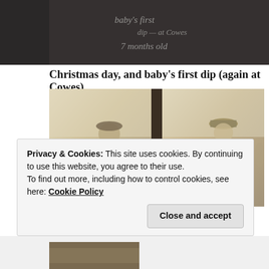[Figure (photo): Dark background with chalk/handwritten text reading 'baby's first' and '7 months old' in white chalk writing on dark board]
Christmas day, and baby's first dip (again at Cowes).
[Figure (photo): Two vintage sepia photographs side by side. Left: a woman in 1920s dress holding a baby on a beach. Right: a woman wearing a striped hat holding a baby outdoors.]
Privacy & Cookies: This site uses cookies. By continuing to use this website, you agree to their use.
To find out more, including how to control cookies, see here: Cookie Policy
Close and accept